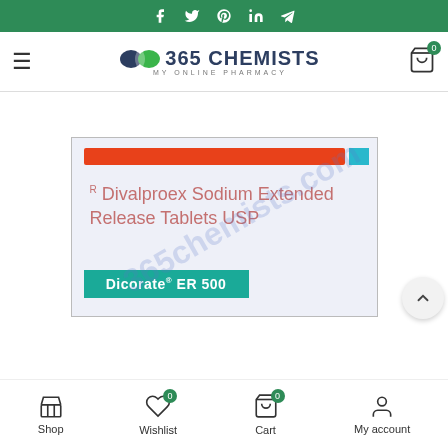Social media links bar (Facebook, Twitter, Pinterest, LinkedIn, Telegram)
[Figure (logo): 365 Chemists - My Online Pharmacy logo with pill icon]
[Figure (photo): Dicorate ER 500 - Divalproex Sodium Extended Release Tablets USP product box with orange stripe and teal branding, watermarked with 365chemists.com]
Shop | Wishlist (0) | Cart (0) | My account